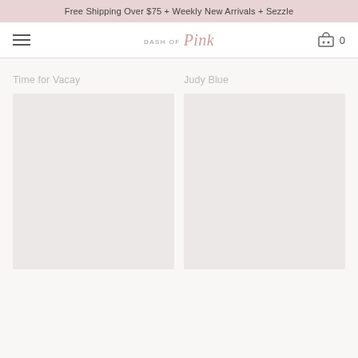Free Shipping Over $75 + Weekly New Arrivals + Sezzle
[Figure (logo): Dash of Pink logo with hamburger menu and cart icon showing 0 items]
Time for Vacay
Judy Blue